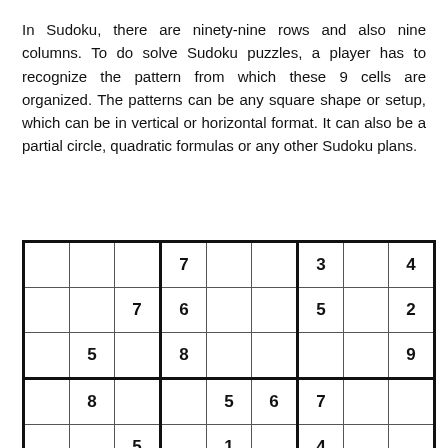In Sudoku, there are ninety-nine rows and also nine columns. To do solve Sudoku puzzles, a player has to recognize the pattern from which these 9 cells are organized. The patterns can be any square shape or setup, which can be in vertical or horizontal format. It can also be a partial circle, quadratic formulas or any other Sudoku plans.
|  |  |  | 7 |  |  | 3 |  | 4 |
|  |  | 7 | 6 |  |  | 5 |  | 2 |
|  | 5 |  | 8 |  |  |  |  | 9 |
|  | 8 |  |  | 5 | 6 | 7 |  |  |
|  |  | 5 |  | 1 |  | 4 |  |  |